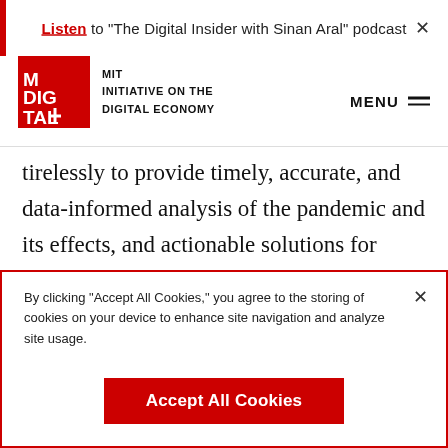Listen to "The Digital Insider with Sinan Aral" podcast
[Figure (logo): MIT Initiative on the Digital Economy logo — red square with M DIG+ TAL text in white, followed by text MIT INITIATIVE ON THE DIGITAL ECONOMY]
tirelessly to provide timely, accurate, and data-informed analysis of the pandemic and its effects, and actionable solutions for policymakers, business leaders, and citizens. We are collaborating with companies like Facebook, Safegraph, Praekelt, and Graphika Inc., to analyze millions
By clicking "Accept All Cookies," you agree to the storing of cookies on your device to enhance site navigation and analyze site usage.
Accept All Cookies